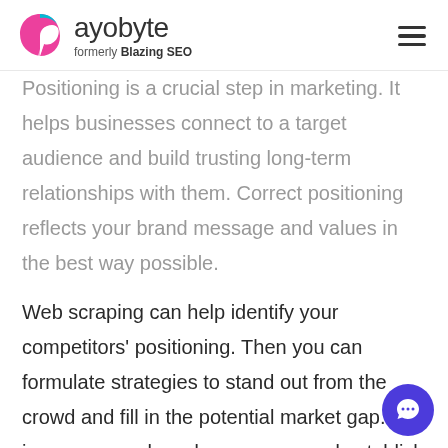rayobyte — formerly Blazing SEO
Positioning is a crucial step in marketing. It helps businesses connect to a target audience and build trusting long-term relationships with them. Correct positioning reflects your brand message and values in the best way possible.
Web scraping can help identify your competitors' positioning. Then you can formulate strategies to stand out from the crowd and fill in the potential market gap. You increase your brand awareness and establish a loyal customer base when you position yourself correctly.
[Figure (illustration): Blue circular chat/messaging button widget in bottom-right corner]